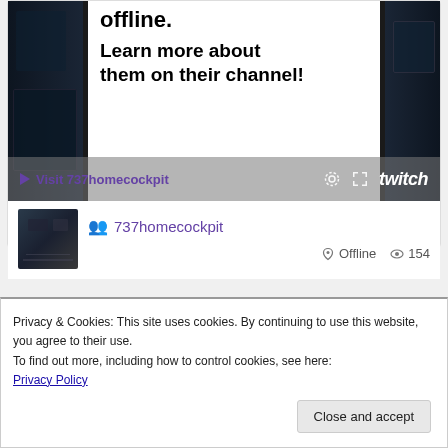[Figure (screenshot): Twitch channel preview showing offline state with text 'offline.' and 'Learn more about them on their channel!' with Visit 737homecockpit link and Twitch branding bar]
737homecockpit   Offline   154
Privacy & Cookies: This site uses cookies. By continuing to use this website, you agree to their use.
To find out more, including how to control cookies, see here:
Privacy Policy
Close and accept